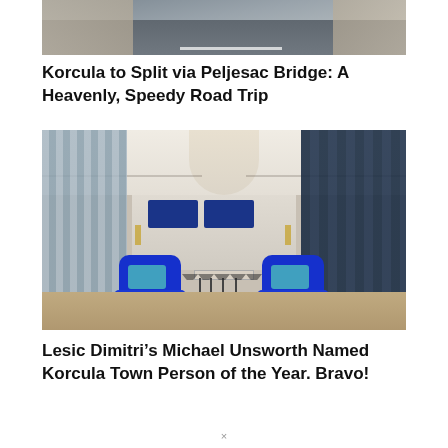[Figure (photo): Aerial view of a road (Peljesac Bridge area) with road markings and rocky roadside terrain]
Korcula to Split via Peljesac Bridge: A Heavenly, Speedy Road Trip
[Figure (photo): Interior of Lesic Dimitri hotel showing two royal blue armchairs with teal cushions, a central table, blue pillows on bed in background, striped walls on right, and warm ceiling lighting]
Lesic Dimitri’s Michael Unsworth Named Korcula Town Person of the Year. Bravo!